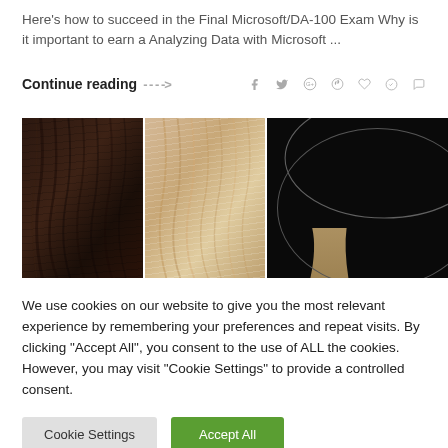Here's how to succeed in the Final Microsoft/DA-100 Exam Why is it important to earn a Analyzing Data with Microsoft ...
Continue reading ------>
[Figure (photo): Three panels of hair extensions/wigs shown side by side: dark brown wavy hair on the left, blonde/light wavy hair in the middle, and a black background with a wire halo hair extension form on the right with blonde hair attached.]
We use cookies on our website to give you the most relevant experience by remembering your preferences and repeat visits. By clicking "Accept All", you consent to the use of ALL the cookies. However, you may visit "Cookie Settings" to provide a controlled consent.